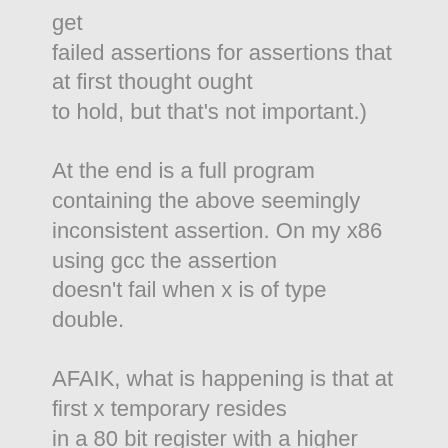get failed assertions for assertions that at first thought ought to hold, but that's not important.)
At the end is a full program containing the above seemingly inconsistent assertion. On my x86 using gcc the assertion doesn't fail when x is of type double.
AFAIK, what is happening is that at first x temporary resides in a 80 bit register with a higher precision than the normal 64 bits. Hence x is greater than 0.0 at first even though the "real" 64 bit value is 0.0. If you cast the value to